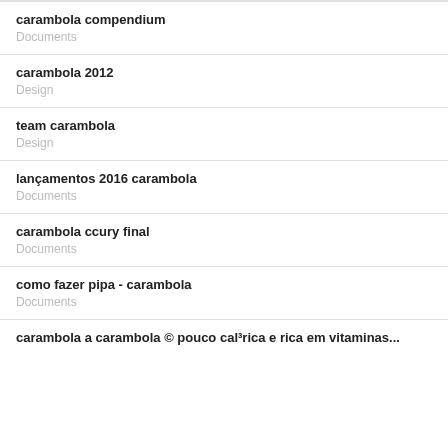carambola compendium
Documents
carambola 2012
Design
team carambola
Design
lançamentos 2016 carambola
Documents
carambola ccury final
Documents
como fazer pipa - carambola
Documents
carambola a carambola © pouco cal³rica e rica em vitaminas...